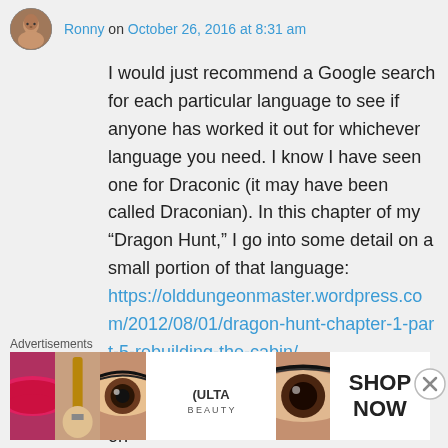Ronny on October 26, 2016 at 8:31 am
I would just recommend a Google search for each particular language to see if anyone has worked it out for whichever language you need. I know I have seen one for Draconic (it may have been called Draconian). In this chapter of my “Dragon Hunt,” I go into some detail on a small portion of that language: https://olddungeonmaster.wordpress.com/2012/08/01/dragon-hunt-chapter-1-part-5-rebuilding-the-cabin/
My guess is that you may find quite a lot on
Advertisements
[Figure (photo): Advertisement banner with beauty product images (lips with makeup, eye makeup brushes, eye with makeup, Ulta Beauty logo, eye close-up) and SHOP NOW text]